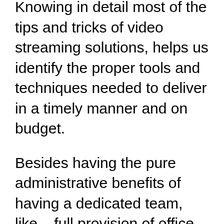Knowing in detail most of the tips and tricks of video streaming solutions, helps us identify the proper tools and techniques needed to deliver in a timely manner and on budget.
Besides having the pure administrative benefits of having a dedicated team, like – full provision of office space, infrastructure, and administration; ability to meet tighter time-to-market requirements; flexibility of unit size scaling and reduced operations risk – your company will also have a number of long-term benefits, like increased